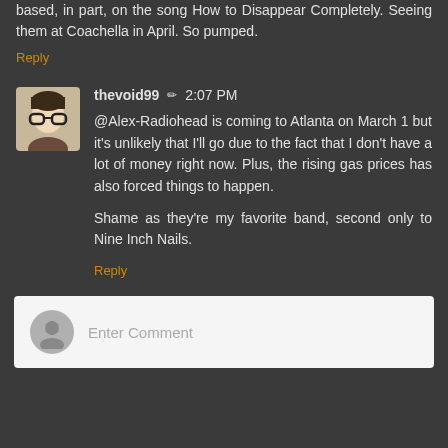based, in part, on the song How to Disappear Completely. Seeing them at Coachella in April. So pumped.
Reply
thevoid99 ✏ 2:07 PM
@Alex-Radiohead is coming to Atlanta on March 1 but it's unlikely that I'll go due to the fact that I don't have a lot of money right now. Plus, the rising gas prices has also forced things to happen.

Shame as they're my favorite band, second only to Nine Inch Nails.
Reply
Enter Comment